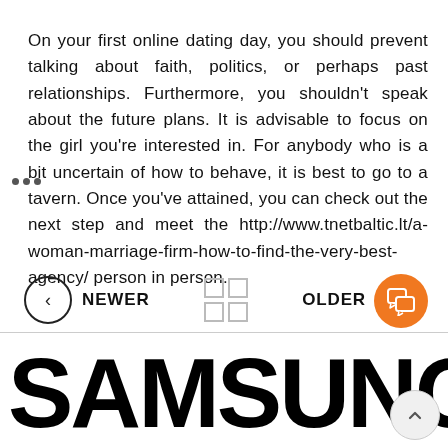On your first online dating day, you should prevent talking about faith, politics, or perhaps past relationships. Furthermore, you shouldn't speak about the future plans. It is advisable to focus on the girl you're interested in. For anybody who is a bit uncertain of how to behave, it is best to go to a tavern. Once you've attained, you can check out the next step and meet the http://www.tnetbaltic.lt/a-woman-marriage-firm-how-to-find-the-very-best-agency/ person in person.
[Figure (other): Navigation bar with NEWER (left arrow circle), grid icon (center), OLDER (right arrow circle)]
[Figure (other): Orange circular chat/message button icon in bottom right area]
SAMSUNG